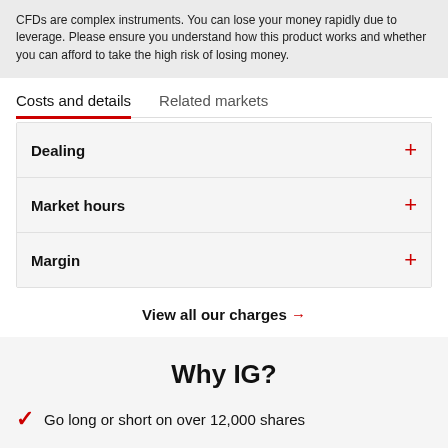CFDs are complex instruments. You can lose your money rapidly due to leverage. Please ensure you understand how this product works and whether you can afford to take the high risk of losing money.
Costs and details | Related markets
Dealing
Market hours
Margin
View all our charges →
Why IG?
Go long or short on over 12,000 shares